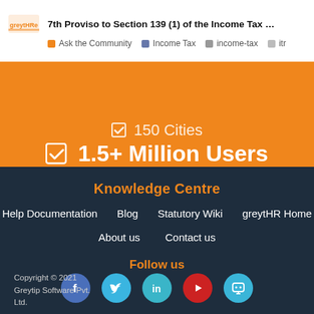7th Proviso to Section 139 (1) of the Income Tax ... | Ask the Community | Income Tax | income-tax | itr
[Figure (infographic): Orange banner with checkmark icons showing 150 Cities and 1.5+ Million Users]
Knowledge Centre
Help Documentation
Blog
Statutory Wiki
greytHR Home
About us
Contact us
Follow us
[Figure (infographic): Social media icons: Facebook, Twitter, LinkedIn, YouTube, and one more platform]
Copyright © 2021 Greytip Software Pvt. Ltd.